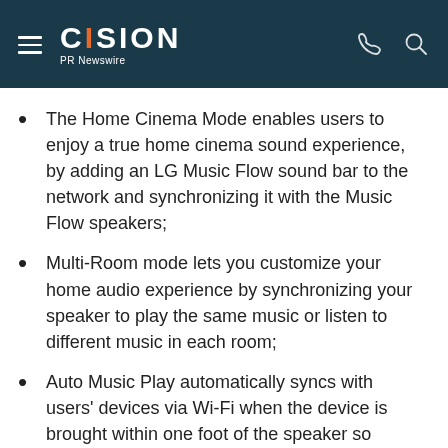CISION PR Newswire
The Home Cinema Mode enables users to enjoy a true home cinema sound experience, by adding an LG Music Flow sound bar to the network and synchronizing it with the Music Flow speakers;
Multi-Room mode lets you customize your home audio experience by synchronizing your speaker to play the same music or listen to different music in each room;
Auto Music Play automatically syncs with users' devices via Wi-Fi when the device is brought within one foot of the speaker so music can be enjoyed without interruption